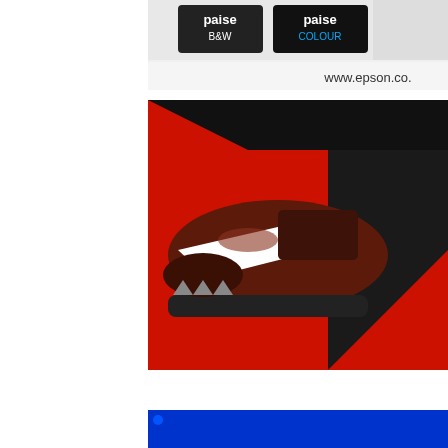[Figure (advertisement): Epson printer advertisement with paise B&W and paise COLOUR labels and www.epson.co. URL, white and grey background]
[Figure (advertisement): Athletic shoe advertisement showing a dark red/brown running shoe against a bright red and black geometric background]
[Figure (advertisement): Lufthansa advertisement with blue background and white Lufthansa text, partially visible at bottom right]